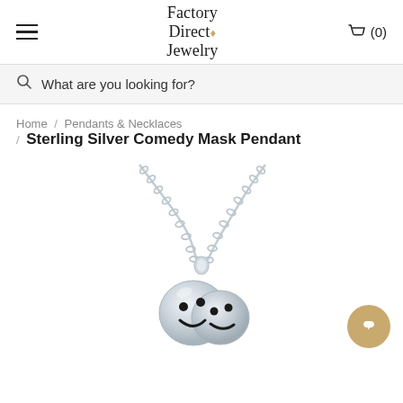Factory Direct Jewelry
What are you looking for?
Home / Pendants & Necklaces / Sterling Silver Comedy Mask Pendant
[Figure (photo): Sterling silver comedy mask pendant on a silver chain necklace, shown against a white background. The pendant is a polished silver comedy/happy face mask with black detailing. A gold circular chat support button is visible in the lower right corner.]